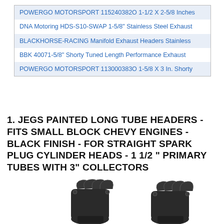| POWERGO MOTORSPORT 115240382O 1-1/2 X 2-5/8 Inches |
| DNA Motoring HDS-S10-SWAP 1-5/8" Stainless Steel Exhaust |
| BLACKHORSE-RACING Manifold Exhaust Headers Stainless |
| BBK 40071-5/8" Shorty Tuned Length Performance Exhaust |
| POWERGO MOTORSPORT 113000383O 1-5/8 X 3 In. Shorty |
1. JEGS PAINTED LONG TUBE HEADERS - FITS SMALL BLOCK CHEVY ENGINES - BLACK FINISH - FOR STRAIGHT SPARK PLUG CYLINDER HEADS - 1 1/2 " PRIMARY TUBES WITH 3" COLLECTORS
[Figure (photo): Photo of black painted long tube exhaust headers for small block Chevy engines]